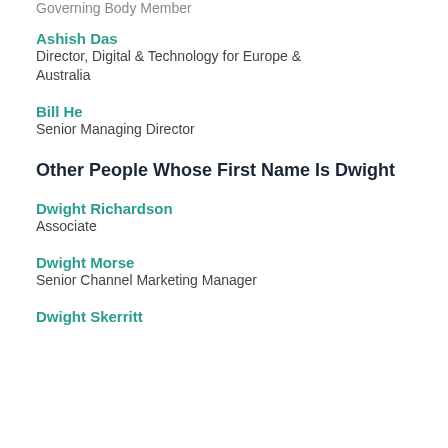Governing Body Member
Ashish Das
Director, Digital & Technology for Europe & Australia
Bill He
Senior Managing Director
Other People Whose First Name Is Dwight
Dwight Richardson
Associate
Dwight Morse
Senior Channel Marketing Manager
Dwight Skerritt